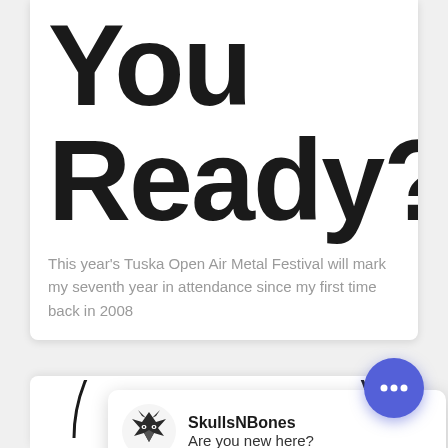You Ready?
This year's Tuska Open Air Metal Festival will mark my seventh year in attendance since my first time back in 2008
[Figure (screenshot): Notification popup from SkullsNBones with wolf logo icon, name 'SkullsNBones' and message 'Are you new here?']
Sam
[Figure (logo): Air Metal Festival circular logo, partially visible at bottom of page]
[Figure (other): Blue circular chat button with three dots (ellipsis) icon]